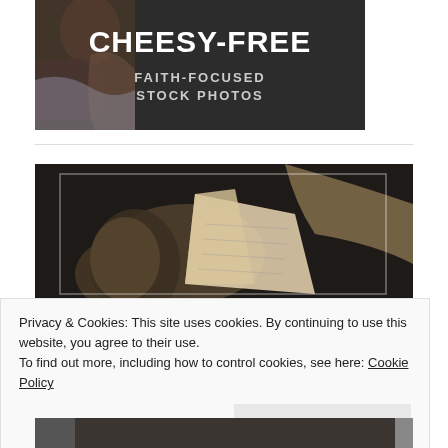[Figure (photo): Dark-toned promotional banner image showing a person praying/clasping hands, with bold white text overlay reading 'CHEESY-FREE FAITH-FOCUSED STOCK PHOTOS']
[Figure (photo): Dark background photo showing what appears to be a Torah scroll or book pages, with a thin white inner border rectangle framing the image]
Privacy & Cookies: This site uses cookies. By continuing to use this website, you agree to their use.
To find out more, including how to control cookies, see here: Cookie Policy
Close and accept